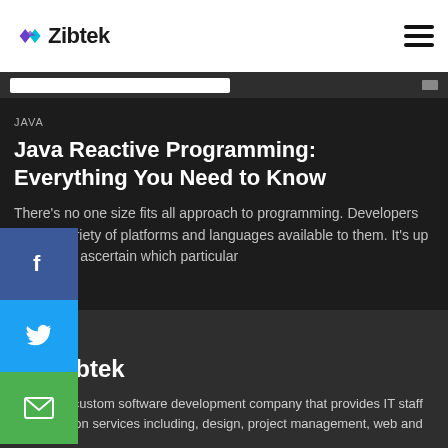Zibtek
JAVA
Java Reactive Programming: Everything You Need to Know
There's no one size fits all approach to programming. Developers have a variety of platforms and languages available to them. It's up to them to ascertain which particular
IAN J.H REYNOLDS
10 NOV 2020 • 6 MIN READ
[Figure (logo): Zibtek logo in footer with diamond/arrow icon]
Zibtek is a custom software development company that provides IT staff augmentation services including, design, project management, web and